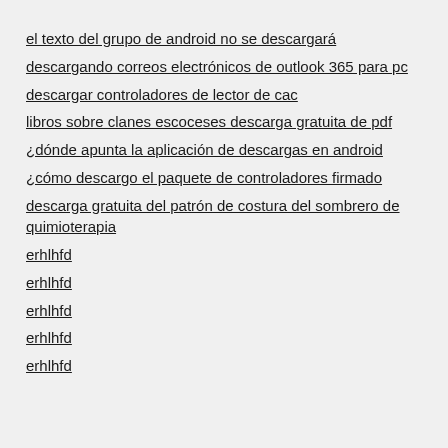el texto del grupo de android no se descargará
descargando correos electrónicos de outlook 365 para pc
descargar controladores de lector de cac
libros sobre clanes escoceses descarga gratuita de pdf
¿dónde apunta la aplicación de descargas en android
¿cómo descargo el paquete de controladores firmado
descarga gratuita del patrón de costura del sombrero de quimioterapia
erhlhfd
erhlhfd
erhlhfd
erhlhfd
erhlhfd